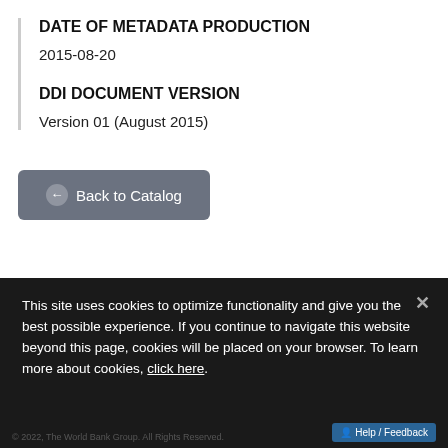DATE OF METADATA PRODUCTION
2015-08-20
DDI DOCUMENT VERSION
Version 01 (August 2015)
Back to Catalog
This site uses cookies to optimize functionality and give you the best possible experience. If you continue to navigate this website beyond this page, cookies will be placed on your browser. To learn more about cookies, click here.